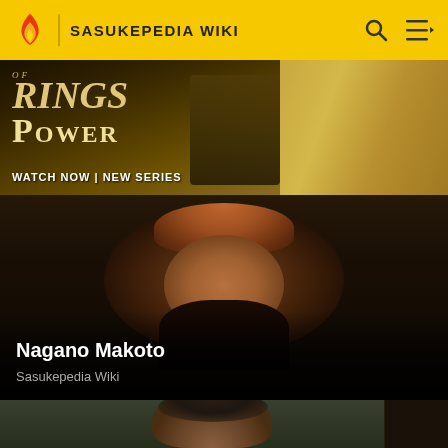SASUKEPEDIA WIKI
[Figure (photo): Advertisement banner for Rings of Power - WATCH NOW | NEW SERIES]
[Figure (photo): Close-up portrait photo of Nagano Makoto with dark background]
Nagano Makoto
Sasukepedia Wiki
[Figure (photo): Partial portrait photo of another person with outdoor background]